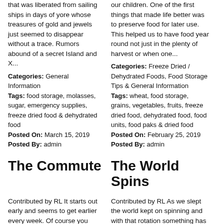that was liberated from sailing ships in days of yore whose treasures of gold and jewels just seemed to disappear without a trace. Rumors abound of a secret Island and X...
our children. One of the first things that made life better was to preserve food for later use. This helped us to have food year round not just in the plenty of harvest or when one...
Categories: General Information
Tags: food storage, molasses, sugar, emergency supplies, freeze dried food & dehydrated food
Posted On: March 15, 2019
Posted By: admin
Categories: Freeze Dried / Dehydrated Foods, Food Storage Tips & General Information
Tags: wheat, food storage, grains, vegetables, fruits, freeze dried food, dehydrated food, food units, food paks & dried food
Posted On: February 25, 2019
Posted By: admin
The Commute
The World Spins
Contributed by RL It starts out early and seems to get earlier every week. Of course you have to warm up the car to help defrost the windows, in this cold...
Contributed by RL As we slept the world kept on spinning and with that rotation something has changed. Magnetic north has moved so much that current...